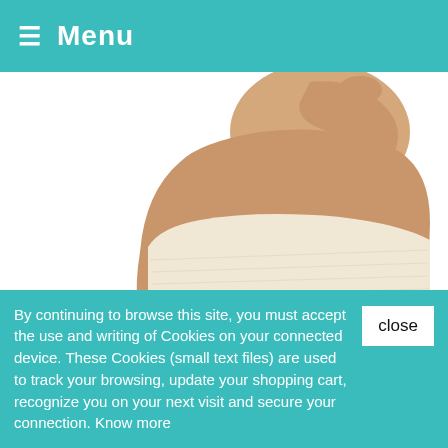≡ Menu
[Figure (photo): Side view of a person wearing a cream/beige angora wool warm belt around their midsection, white background.]
Add To Cart
Warm belt angora wool - CLIMACARE
€28.42
By continuing to browse this site, you must accept the use and writing of Cookies on your connected device. These Cookies (small text files) are used to track your browsing, update your shopping cart, recognize you on your next visit and secure your connection. Know more